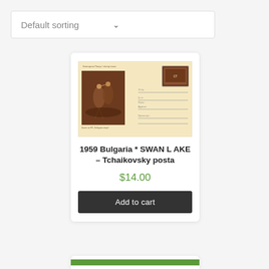Default sorting
[Figure (photo): A vintage 1959 Bulgarian postal envelope featuring a sepia-toned ballet scene from Swan Lake with two dancers, and a postage stamp in the upper right corner, with address lines on the right side.]
1959 Bulgaria * SWAN LAKE – Tchaikovsky posta
$14.00
Add to cart